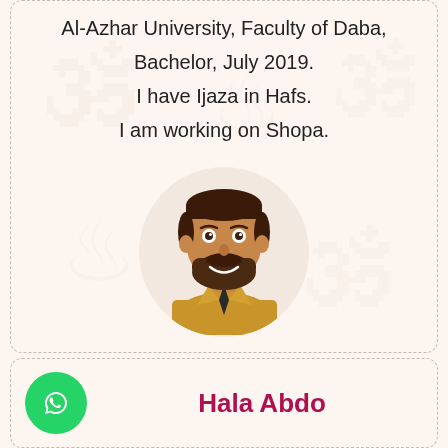Al-Azhar University, Faculty of Daba, Bachelor, July 2019.
I have Ijaza in Hafs.
I am working on Shopa.
[Figure (illustration): Cartoon avatar of a bearded man in a yellow shirt with a dark tie, inside a circular light-beige background]
Hala Abdo